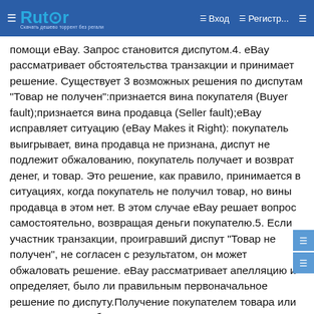☰  Rutor  ☰ Вход  ☰ Регистр...  ☰
помощи eBay. Запрос становится диспутом.4. eBay рассматривает обстоятельства транзакции и принимает решение. Существует 3 возможных решения по диспутам "Товар не получен":признается вина покупателя (Buyer fault);признается вина продавца (Seller fault);eBay исправляет ситуацию (eBay Makes it Right): покупатель выигрывает, вина продавца не признана, диспут не подлежит обжалованию, покупатель получает и возврат денег, и товар. Это решение, как правило, принимается в ситуациях, когда покупатель не получил товар, но вины продавца в этом нет. В этом случае eBay решает вопрос самостоятельно, возвращая деньги покупателю.5. Если участник транзакции, проигравший диспут "Товар не получен", не согласен с результатом, он может обжаловать решение. eBay рассматривает апелляцию и определяет, было ли правильным первоначальное решение по диспуту.Получение покупателем товара или возврата денег обеспечивает программа Гарантия возврата денег eBay (eBay Money Back Guarantee).СОВЕТПомните, что вы должны ответить на вопросы покупателя в течение трех